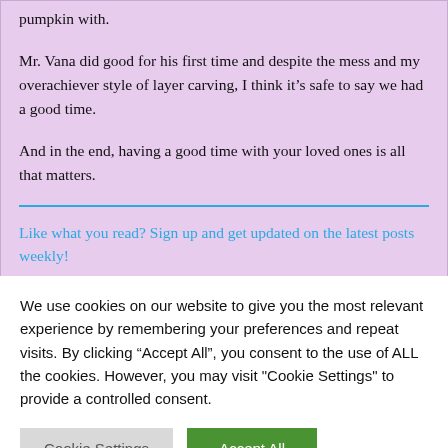pumpkin with.
Mr. Vana did good for his first time and despite the mess and my overachiever style of layer carving, I think it’s safe to say we had a good time.
And in the end, having a good time with your loved ones is all that matters.
Like what you read? Sign up and get updated on the latest posts weekly!
We use cookies on our website to give you the most relevant experience by remembering your preferences and repeat visits. By clicking “Accept All”, you consent to the use of ALL the cookies. However, you may visit "Cookie Settings" to provide a controlled consent.